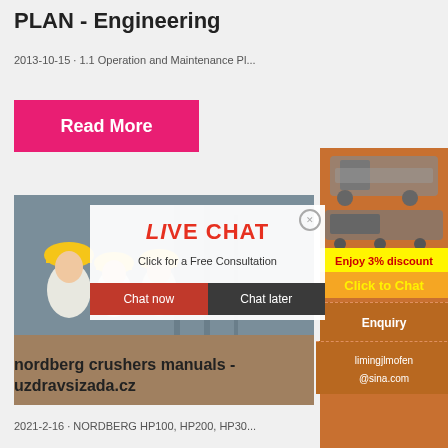PLAN - Engineering
2013-10-15 · 1.1 Operation and Maintenance Pl...
[Figure (screenshot): Pink Read More button, live chat overlay with workers in hard hats photo, Chat now and Chat later buttons]
[Figure (infographic): Orange sidebar with orange mining/crusher machine images, yellow discount bar, Click to Chat button, Enquiry section, limingjlmofen@sina.com email]
nordberg crushers manuals - uzdravsizada.cz
2021-2-16 · NORDBERG HP100, HP200, HP30...